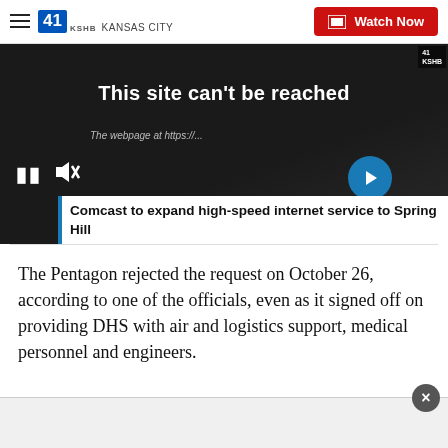41 KSHB KANSAS CITY — Watch Now
[Figure (screenshot): Video player thumbnail showing browser error screen with text 'This site can't be reached' and 'The webpage at https://...' with pause button, mute icon, forward arrow, and KSHB watermark. Inset headline bar reads 'Comcast to expand high-speed internet service to Spring Hill'.]
The Pentagon rejected the request on October 26, according to one of the officials, even as it signed off on providing DHS with air and logistics support, medical personnel and engineers.